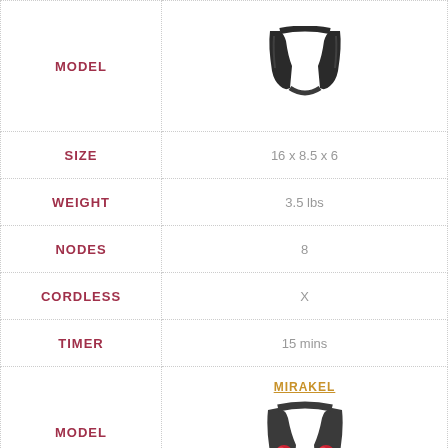| Attribute | Value |
| --- | --- |
| MODEL | [product image - neck massager top view] |
| SIZE | 16 x 8.5 x 6 |
| WEIGHT | 3.5 lbs |
| NODES | 8 |
| CORDLESS | X |
| TIMER | 15 mins |
| MODEL | MIRAKEL [product image - neck massager with red nodes] |
| SIZE | N/A |
| WEIGHT | 3.2 lbs |